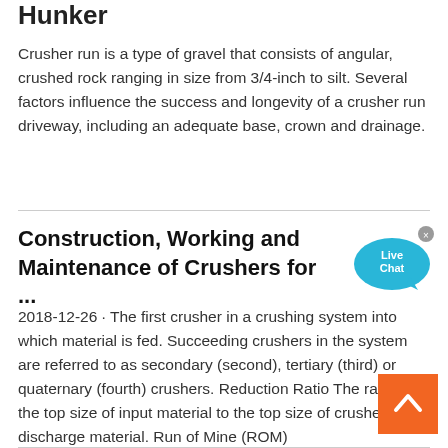Hunker
Crusher run is a type of gravel that consists of angular, crushed rock ranging in size from 3/4-inch to silt. Several factors influence the success and longevity of a crusher run driveway, including an adequate base, crown and drainage.
Construction, Working and Maintenance of Crushers for ...
2018-12-26 · The first crusher in a crushing system into which material is fed. Succeeding crushers in the system are referred to as secondary (second), tertiary (third) or quaternary (fourth) crushers. Reduction Ratio The ratio of the top size of input material to the top size of crusher discharge material. Run of Mine (ROM)